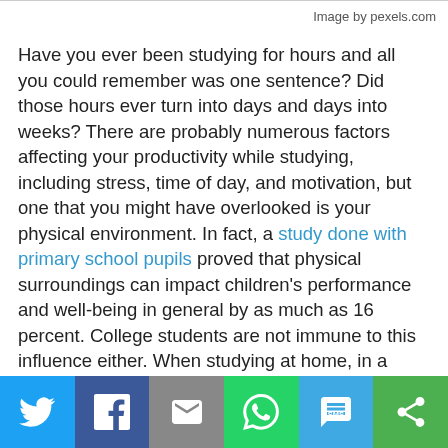Image by pexels.com
Have you ever been studying for hours and all you could remember was one sentence? Did those hours ever turn into days and days into weeks? There are probably numerous factors affecting your productivity while studying, including stress, time of day, and motivation, but one that you might have overlooked is your physical environment. In fact, a study done with primary school pupils proved that physical surroundings can impact children's performance and well-being in general by as much as 16 percent. College students are not immune to this influence either. When studying at home, in a rented apartment or in a dorm, you are the only one in charge of your focus, and one thing that can help you (or sabotage you) is the environment. Here is everything you need to know about
[Figure (infographic): Social sharing bar with icons for Twitter, Facebook, Email, WhatsApp, SMS, and ShareThis]